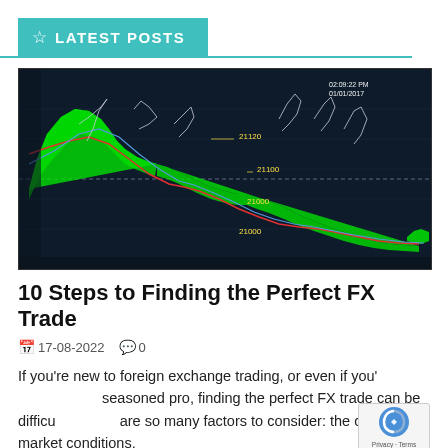☆ LATEST POSTS
[Figure (screenshot): Trading chart screenshot showing candlestick/line chart with green Ichimoku cloud bands, red and blue moving average lines on a dark navy background. Price levels labeled: 21120, 21100, 21000, 21000. Timestamp shown: 02:09:22 PM 01/01/2017.]
10 Steps to Finding the Perfect FX Trade
📅 17-08-2022   💬 0
If you're new to foreign exchange trading, or even if you're a seasoned pro, finding the perfect FX trade can be difficu… are so many factors to consider: the current market conditions,